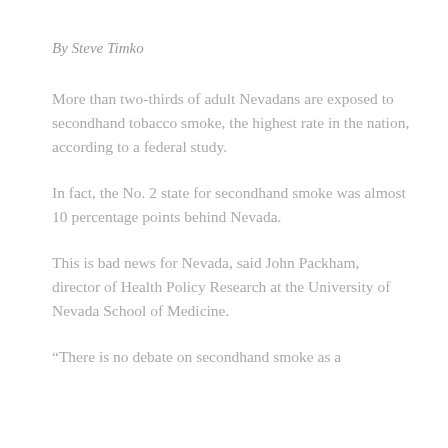By Steve Timko
More than two-thirds of adult Nevadans are exposed to secondhand tobacco smoke, the highest rate in the nation, according to a federal study.
In fact, the No. 2 state for secondhand smoke was almost 10 percentage points behind Nevada.
This is bad news for Nevada, said John Packham, director of Health Policy Research at the University of Nevada School of Medicine.
“There is no debate on secondhand smoke as a